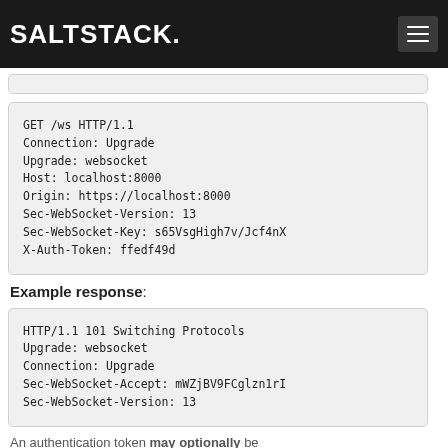SALTSTACK
GET /ws HTTP/1.1
Connection: Upgrade
Upgrade: websocket
Host: localhost:8000
Origin: https://localhost:8000
Sec-WebSocket-Version: 13
Sec-WebSocket-Key: s65VsgHigh7v/Jcf4nX
X-Auth-Token: ffedf49d
Example response:
HTTP/1.1 101 Switching Protocols
Upgrade: websocket
Connection: Upgrade
Sec-WebSocket-Accept: mWZjBV9FCglzn1rI
Sec-WebSocket-Version: 13
An authentication token may optionally be